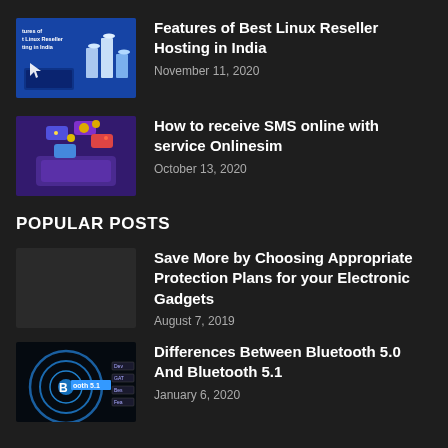[Figure (screenshot): Thumbnail image for Linux Reseller Hosting article — blue tech graphic with bar charts and text]
Features of Best Linux Reseller Hosting in India
November 11, 2020
[Figure (screenshot): Thumbnail image for SMS online article — purple/dark tech graphic with phone icons and emoji]
How to receive SMS online with service Onlinesim
October 13, 2020
POPULAR POSTS
Save More by Choosing Appropriate Protection Plans for your Electronic Gadgets
August 7, 2019
[Figure (screenshot): Thumbnail image for Bluetooth 5.1 article — dark circular graphic with Bluetooth logo and text labels]
Differences Between Bluetooth 5.0 And Bluetooth 5.1
January 6, 2020